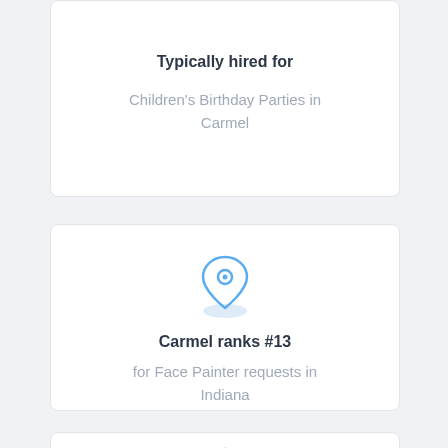Typically hired for
Children's Birthday Parties in Carmel
[Figure (illustration): Blue location pin / map marker icon with a shadow ellipse below it]
Carmel ranks #13
for Face Painter requests in Indiana
[Figure (illustration): Blue clock icon, partially visible at the bottom of the page]